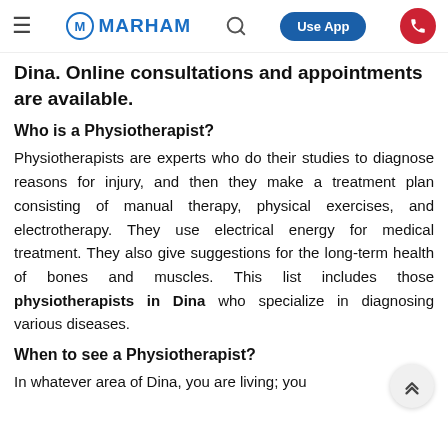MARHAM — Use App
Dina. Online consultations and appointments are available.
Who is a Physiotherapist?
Physiotherapists are experts who do their studies to diagnose reasons for injury, and then they make a treatment plan consisting of manual therapy, physical exercises, and electrotherapy. They use electrical energy for medical treatment. They also give suggestions for the long-term health of bones and muscles. This list includes those physiotherapists in Dina who specialize in diagnosing various diseases.
When to see a Physiotherapist?
In whatever area of Dina, you are living; you